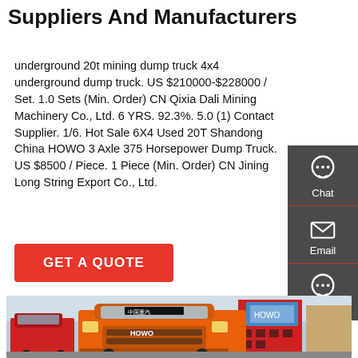Suppliers And Manufacturers
underground 20t mining dump truck 4x4 underground dump truck. US $210000-$228000 / Set. 1.0 Sets (Min. Order) CN Qixia Dali Mining Machinery Co., Ltd. 6 YRS. 92.3%. 5.0 (1) Contact Supplier. 1/6. Hot Sale 6X4 Used 20T Shandong China HOWO 3 Axle 375 Horsepower Dump Truck. US $8500 / Piece. 1 Piece (Min. Order) CN Jining Long String Export Co., Ltd.
GET A QUOTE
[Figure (photo): Orange HOWO dump truck parked in front of a commercial building with signage, other red trucks visible in background.]